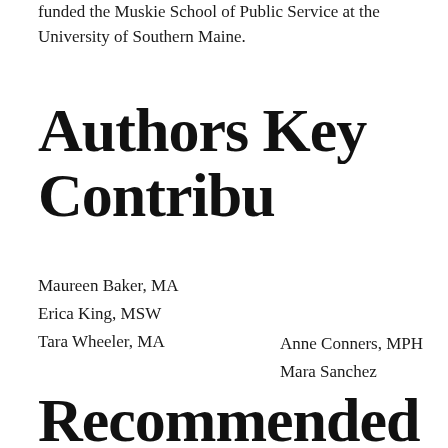funded the Muskie School of Public Service at the University of Southern Maine.
Authors Key Contribu
Maureen Baker, MA
Erica King, MSW
Tara Wheeler, MA
Anne Conners, MPH
Mara Sanchez
Recommended